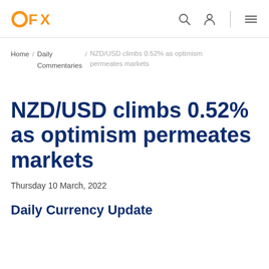OFX
Home / Daily Commentaries / NZD/USD climbs 0.52% as optimism permeates markets
NZD/USD climbs 0.52% as optimism permeates markets
Thursday 10 March, 2022
Daily Currency Update